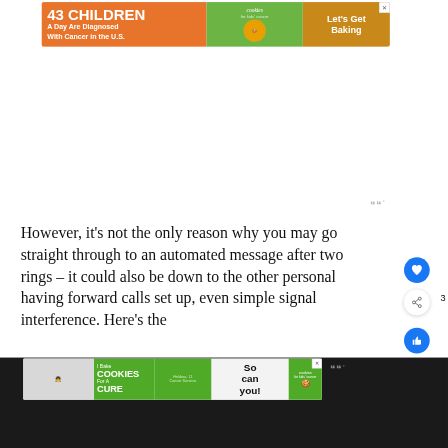[Figure (infographic): Orange and green ad banner: '43 CHILDREN A Day Are Diagnosed With Cancer in the U.S.' with cookies for kids' cancer logo and 'Let's Get Baking' call to action]
However, it's not the only reason why you may go straight through to an automated message after two rings – it could also be down to the other personal having forward calls set up, even simple signal interference. Here's the ru... our p...
[Figure (infographic): Bottom ad banner: 'I Bake COOKIES For A CURE' with cookies for kids' cancer branding, photo of child, and 'So can you!' text]